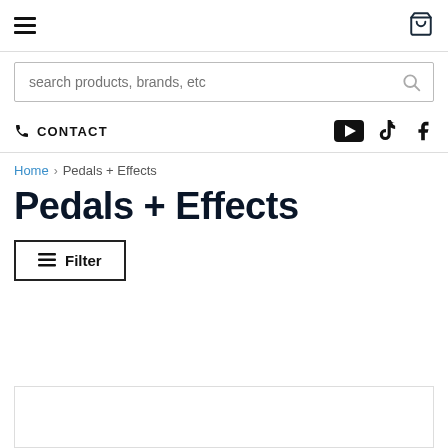Navigation bar with hamburger menu and shopping cart
search products, brands, etc
CONTACT
Home > Pedals + Effects
Pedals + Effects
Filter